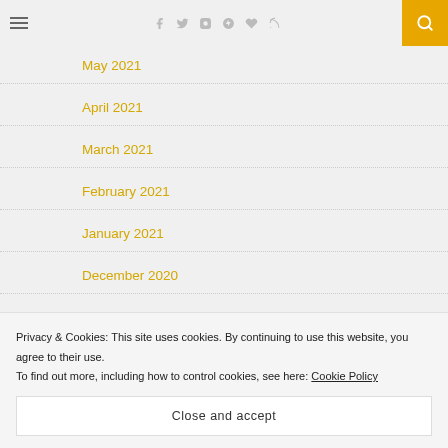Navigation header with hamburger menu, social icons, and search
May 2021
April 2021
March 2021
February 2021
January 2021
December 2020
September 2020
August 2020
March 2020
Privacy & Cookies: This site uses cookies. By continuing to use this website, you agree to their use. To find out more, including how to control cookies, see here: Cookie Policy
Close and accept